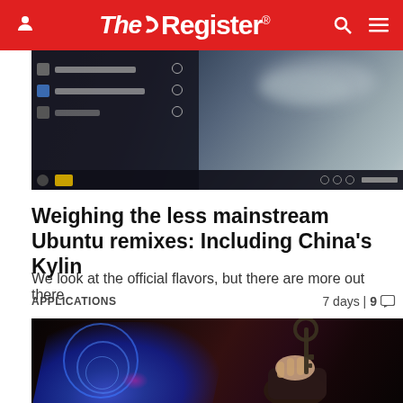The Register
[Figure (screenshot): Screenshot of a Linux desktop environment showing a menu/application list on the left and a dark sky/clouds wallpaper on the right, with a taskbar at the bottom]
Weighing the less mainstream Ubuntu remixes: Including China's Kylin
We look at the official flavors, but there are more out there
APPLICATIONS	7 days | 9 💬
[Figure (photo): Dark dramatic photo showing a hand emerging from a laptop screen holding an old-fashioned skeleton key, with blue glowing digital circles/rings visible, suggesting cybersecurity or encryption theme]